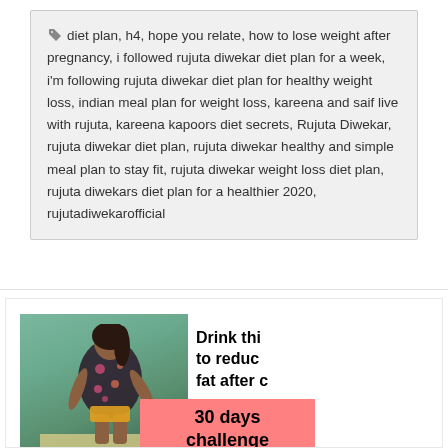diet plan, h4, hope you relate, how to lose weight after pregnancy, i followed rujuta diwekar diet plan for a week, i'm following rujuta diwekar diet plan for healthy weight loss, indian meal plan for weight loss, kareena and saif live with rujuta, kareena kapoors diet secrets, Rujuta Diwekar, rujuta diwekar diet plan, rujuta diwekar healthy and simple meal plan to stay fit, rujuta diwekar weight loss diet plan, rujuta diwekars diet plan for a healthier 2020, rujutadiwekarofficial
[Figure (photo): Composite image showing a woman standing on a beach wearing a floral top, overlaid with text boxes: a white box reading 'Drink thi to reduc fat after c' (partially cut off), a salmon/pink box reading '30 days challenge', and a dark left bar.]